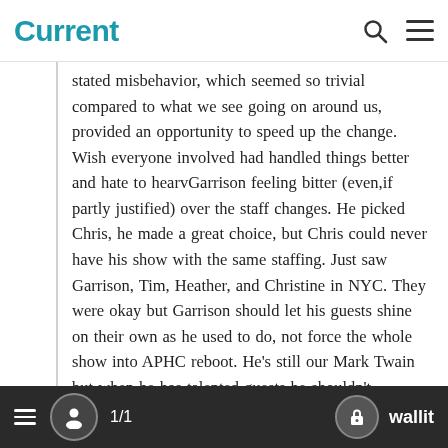Current
stated misbehavior, which seemed so trivial compared to what we see going on around us, provided an opportunity to speed up the change. Wish everyone involved had handled things better and hate to hearvGarrison feeling bitter (even,if partly justified) over the staff changes. He picked Chris, he made a great choice, but Chris could never have his show with the same staffing. Just saw Garrison, Tim, Heather, and Christine in NYC. They were okay but Garrison should let his guests shine on their own as he used to do, not force the whole show into APHC reboot. He’s still our Mark Twain but when he has talented guests he shouldn’t completely dominate the show as he did in NY.
1/1  wallit